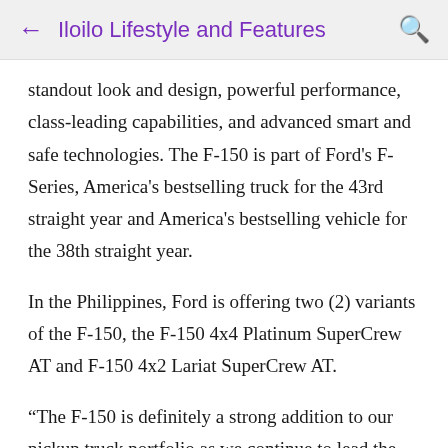← Iloilo Lifestyle and Features 🔍
standout look and design, powerful performance, class-leading capabilities, and advanced smart and safe technologies. The F-150 is part of Ford's F-Series, America's bestselling truck for the 43rd straight year and America's bestselling vehicle for the 38th straight year.
In the Philippines, Ford is offering two (2) variants of the F-150, the F-150 4x4 Platinum SuperCrew AT and F-150 4x2 Lariat SuperCrew AT.
“The F-150 is definitely a strong addition to our pickup truck portfolio as we continue to lead the segment with the widest